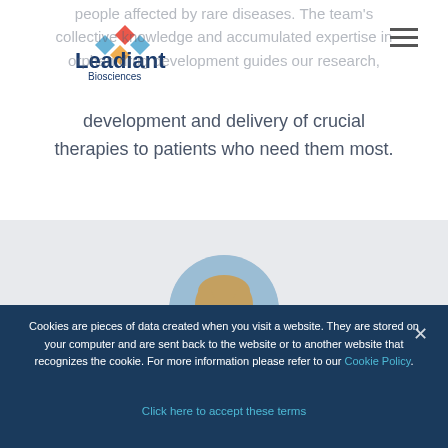[Figure (logo): Leadiant Biosciences logo with diamond/snowflake icon above company name]
people affected by rare diseases. The team's collective knowledge and accumulated expertise in orphan drug development guides our research, development and delivery of crucial therapies to patients who need them most.
[Figure (photo): Circular cropped photo of a person (head/hair visible) against a light blue background]
Cookies are pieces of data created when you visit a website. They are stored on your computer and are sent back to the website or to another website that recognizes the cookie. For more information please refer to our Cookie Policy. Click here to accept these terms